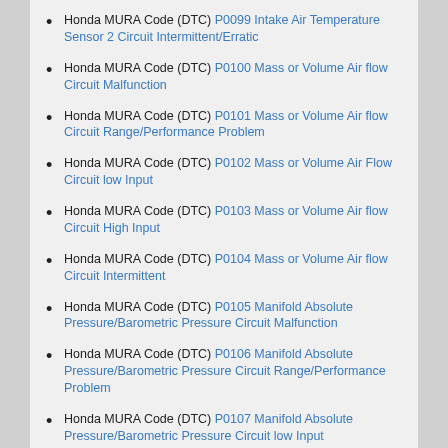Honda MURA Code (DTC) P0099 Intake Air Temperature Sensor 2 Circuit Intermittent/Erratic
Honda MURA Code (DTC) P0100 Mass or Volume Air flow Circuit Malfunction
Honda MURA Code (DTC) P0101 Mass or Volume Air flow Circuit Range/Performance Problem
Honda MURA Code (DTC) P0102 Mass or Volume Air Flow Circuit low Input
Honda MURA Code (DTC) P0103 Mass or Volume Air flow Circuit High Input
Honda MURA Code (DTC) P0104 Mass or Volume Air flow Circuit Intermittent
Honda MURA Code (DTC) P0105 Manifold Absolute Pressure/Barometric Pressure Circuit Malfunction
Honda MURA Code (DTC) P0106 Manifold Absolute Pressure/Barometric Pressure Circuit Range/Performance Problem
Honda MURA Code (DTC) P0107 Manifold Absolute Pressure/Barometric Pressure Circuit low Input